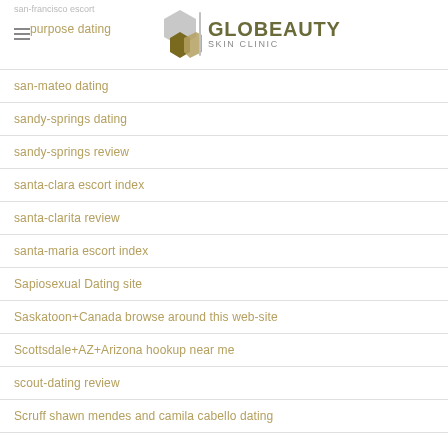san-francisco escort / purpose dating | GLOBEAUTY SKIN CLINIC
san-mateo dating
sandy-springs dating
sandy-springs review
santa-clara escort index
santa-clarita review
santa-maria escort index
Sapiosexual Dating site
Saskatoon+Canada browse around this web-site
Scottsdale+AZ+Arizona hookup near me
scout-dating review
Scruff shawn mendes and camila cabello dating